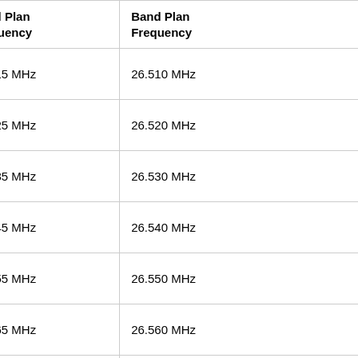|  | Channel | Band Plan Frequency | Band Plan Frequency |
| --- | --- | --- | --- |
|  | Channel 1 | 26.515 MHz | 26.510 MHz |
|  | Channel 2 | 26.525 MHz | 26.520 MHz |
|  | Channel 3 | 26.535 MHz | 26.530 MHz |
|  | Channel 3A | 26.545 MHz | 26.540 MHz |
|  | Channel 4 | 26.555 MHz | 26.550 MHz |
|  | Channel 5 | 26.565 MHz | 26.560 MHz |
|  | Channel 6 | 26.575 MHz | 26.570 MHz |
|  | Channel 7 | 26.585 MHz | 26.580 MHz |
|  | Channel 7A | 26.595 MHz | 26.590 MHz |
|  | Channel |  |  |